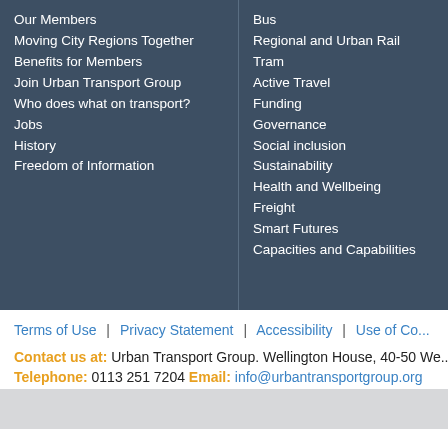Our Members
Moving City Regions Together
Benefits for Members
Join Urban Transport Group
Who does what on transport?
Jobs
History
Freedom of Information
Bus
Regional and Urban Rail
Tram
Active Travel
Funding
Governance
Social inclusion
Sustainability
Health and Wellbeing
Freight
Smart Futures
Capacities and Capabilities
Terms of Use | Privacy Statement | Accessibility | Use of Co...
Contact us at: Urban Transport Group. Wellington House, 40-50 We...
Telephone: 0113 251 7204  Email: info@urbantransportgroup.org